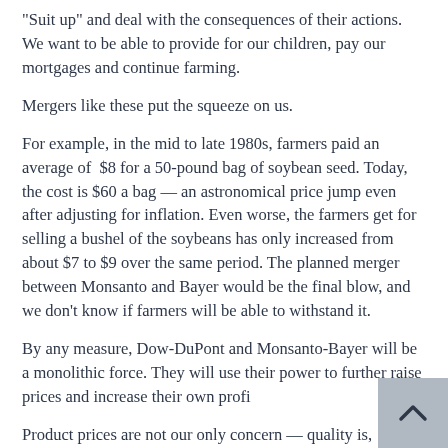"Suit up" and deal with the consequences of their actions. We want to be able to provide for our children, pay our mortgages and continue farming.
Mergers like these put the squeeze on us.
For example, in the mid to late 1980s, farmers paid an average of $8 for a 50-pound bag of soybean seed. Today, the cost is $60 a bag — an astronomical price jump even after adjusting for inflation. Even worse, the farmers get for selling a bushel of the soybeans has only increased from about $7 to $9 over the same period. The planned merger between Monsanto and Bayer would be the final blow, and we don't know if farmers will be able to withstand it.
By any measure, Dow-DuPont and Monsanto-Bayer will be a monolithic force. They will use their power to further raise prices and increase their own profi
Product prices are not our only concern — quality is,